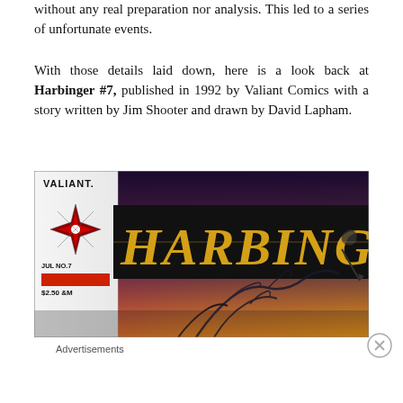without any real preparation nor analysis. This led to a series of unfortunate events.
With those details laid down, here is a look back at Harbinger #7, published in 1992 by Valiant Comics with a story written by Jim Shooter and drawn by David Lapham.
[Figure (photo): Cover of Harbinger #7 comic book published by Valiant Comics in July 1992, priced $2.50. The cover shows the HARBINGER title in large gold letters on a black banner, with a red/orange background, a compass-rose star logo, and dark branch/claw imagery in the lower portion.]
Advertisements